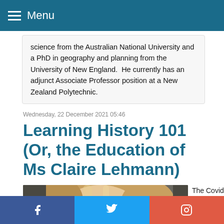Menu
science from the Australian National University and a PhD in geography and planning from the University of New England.  He currently has an adjunct Associate Professor position at a New Zealand Polytechnic.
Wednesday, 22 December 2021 05:46
Learning History 101 (Or, the Education of Ms Claire Lehmann)
[Figure (photo): Portrait photo of Ms Claire Lehmann, a woman with long blonde hair]
The Covid Class gets furious